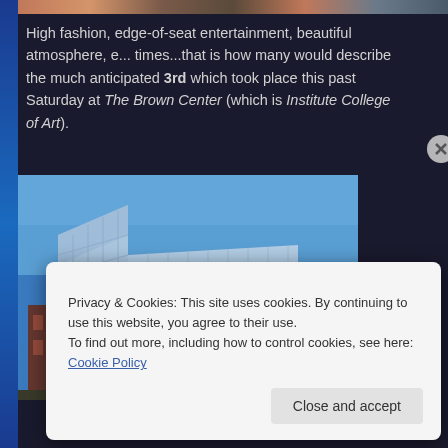[Figure (photo): Colorful top image strip showing people/fashion event]
High fashion, edge-of-seat entertainment, beautiful atmosphere, e... times...that is how many would describe the much anticipated 3rd which took place this past Saturday at The Brown Center (which is Institute College of Art).
[Figure (photo): Exterior photo of The Brown Center building with blue sky background, modern glass architecture]
Privacy & Cookies: This site uses cookies. By continuing to use this website, you agree to their use.
To find out more, including how to control cookies, see here: Cookie Policy
Close and accept